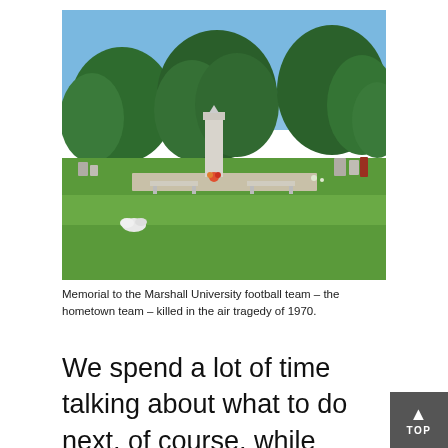[Figure (photo): Outdoor cemetery photo showing a memorial monument (tall white obelisk/column) surrounded by green trees and grass on a sunny day. Two stone benches flank the monument. Flowers are visible at the base. Other gravestones visible in the background.]
Memorial to the Marshall University football team – the hometown team – killed in the air tragedy of 1970.
We spend a lot of time talking about what to do next, of course, while remembering some of the sad events